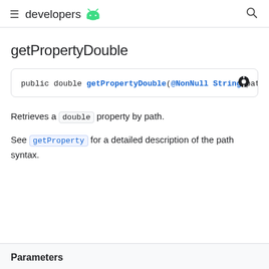≡ developers [Android logo] 🔍
getPropertyDouble
public double getPropertyDouble(@NonNull String path
Retrieves a double property by path.
See getProperty for a detailed description of the path syntax.
Parameters